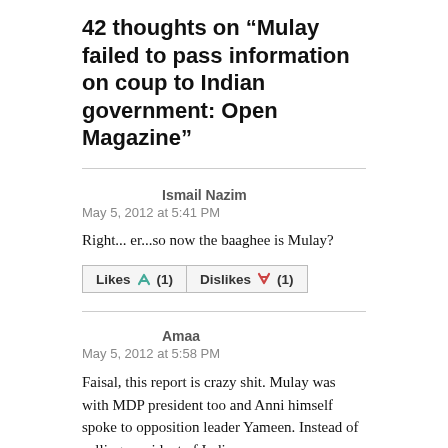42 thoughts on “Mulay failed to pass information on coup to Indian government: Open Magazine”
Ismail Nazim
May 5, 2012 at 5:41 PM
Right... er...so now the baaghee is Mulay?
Likes (1)   Dislikes (1)
Amaa
May 5, 2012 at 5:58 PM
Faisal, this report is crazy shit. Mulay was with MDP president too and Anni himself spoke to opposition leader Yameen. Instead of calling president of India